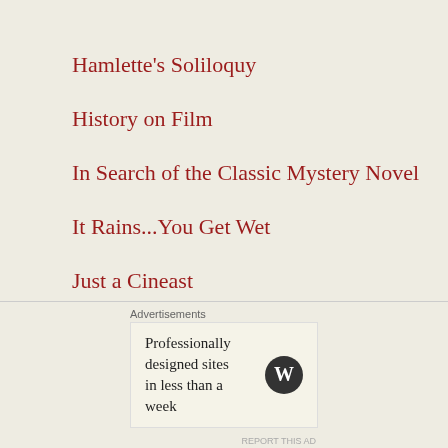Hamlette's Soliloquy
History on Film
In Search of the Classic Mystery Novel
It Rains...You Get Wet
Just a Cineast
Laura's Miscellaneous Musings
Advertisements
Professionally designed sites in less than a week